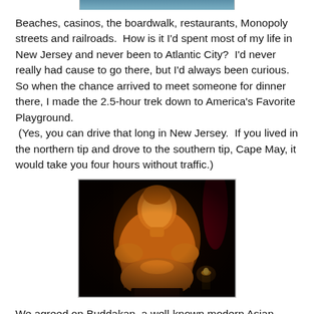[Figure (photo): Partial top edge of a photo, showing blue/teal water or sky]
Beaches, casinos, the boardwalk, restaurants, Monopoly streets and railroads.  How is it I'd spent most of my life in New Jersey and never been to Atlantic City?  I'd never really had cause to go there, but I'd always been curious.  So when the chance arrived to meet someone for dinner there, I made the 2.5-hour trek down to America's Favorite Playground.  (Yes, you can drive that long in New Jersey.  If you lived in the northern tip and drove to the southern tip, Cape May, it would take you four hours without traffic.)
[Figure (photo): A large golden Buddha statue seated at the head of a dimly lit room, illuminated with warm orange light against a dark background. A small candle or lamp is visible at lower right.]
We agreed on Buddakan, a well-known modern Asian establishment in Caesars Atlantic City known as much for its food as the giant Buddha seated at the head of a large, fleshy communal table.  I'm a decidedly un-fleshy kind of